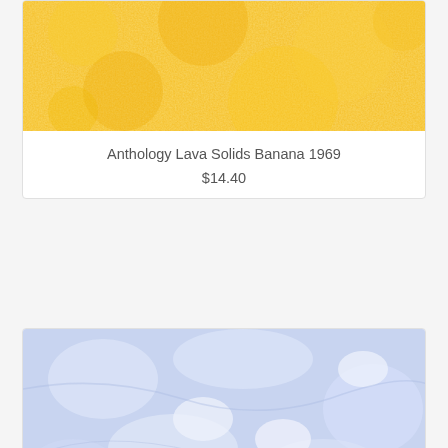[Figure (photo): Yellow/golden textured fabric swatch - Anthology Lava Solids Banana 1969]
Anthology Lava Solids Banana 1969
$14.40
[Figure (photo): Light blue/periwinkle textured fabric swatch - Anthology LAVA SOLIDS PERIWINKLE 1572]
Anthology LAVA SOLIDS PERIWINKLE 1572
$14.40